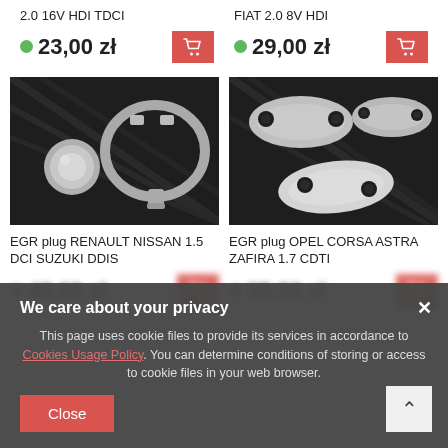2.0 16V HDI TDCI
23,00 zł
FIAT 2.0 8V HDI
29,00 zł
[Figure (photo): EGR plug parts: a small metal cap and a metal clamp/ring on dark carbon fiber background]
[Figure (photo): Three metal EGR plug gaskets/blanking plates on dark carbon fiber background]
EGR plug RENAULT NISSAN 1.5 DCI SUZUKI DDIS
EGR plug OPEL CORSA ASTRA ZAFIRA 1.7 CDTI
We care about your privacy
This page uses cookie files to provide its services in accordance to Cookies Usage Policy. You can determine conditions of storing or access to cookie files in your web browser.
Close